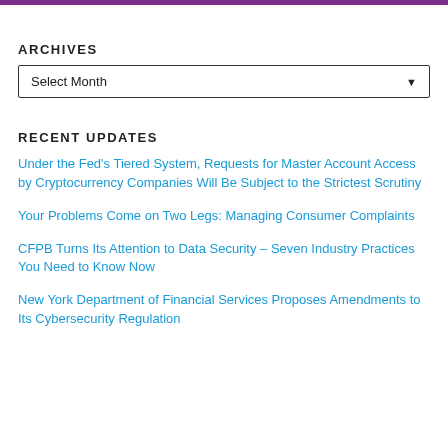ARCHIVES
[Figure (screenshot): A dropdown select box with label 'Select Month' and a down-arrow indicator]
RECENT UPDATES
Under the Fed's Tiered System, Requests for Master Account Access by Cryptocurrency Companies Will Be Subject to the Strictest Scrutiny
Your Problems Come on Two Legs: Managing Consumer Complaints
CFPB Turns Its Attention to Data Security – Seven Industry Practices You Need to Know Now
New York Department of Financial Services Proposes Amendments to Its Cybersecurity Regulation